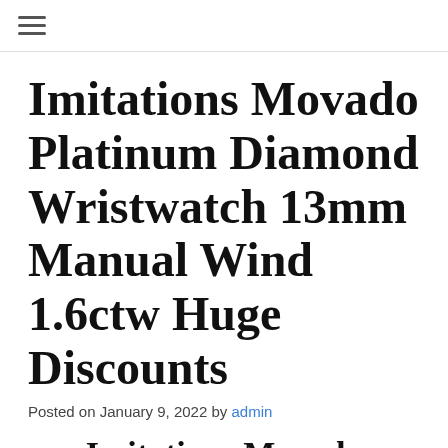☰
Imitations Movado Platinum Diamond Wristwatch 13mm Manual Wind 1.6ctw Huge Discounts
Posted on January 9, 2022 by admin
Imitations Movado Platinum Diamond Wristwatch 13mm Manual Wind 1.6ctw Huge Discounts